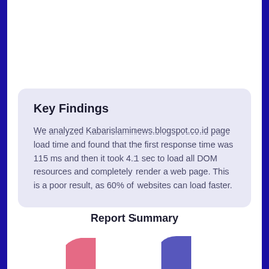Key Findings
We analyzed Kabarislaminews.blogspot.co.id page load time and found that the first response time was 115 ms and then it took 4.1 sec to load all DOM resources and completely render a web page. This is a poor result, as 60% of websites can load faster.
Report Summary
[Figure (other): Partial bar chart visible at the bottom of the page, cut off]